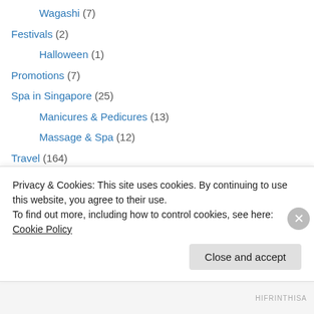Wagashi (7)
Festivals (2)
Halloween (1)
Promotions (7)
Spa in Singapore (25)
Manicures & Pedicures (13)
Massage & Spa (12)
Travel (164)
Australia (2)
Sydney (2)
Belgium (2)
Antwerp (1)
Brugge (1)
Privacy & Cookies: This site uses cookies. By continuing to use this website, you agree to their use. To find out more, including how to control cookies, see here: Cookie Policy
HIFRINTHISA